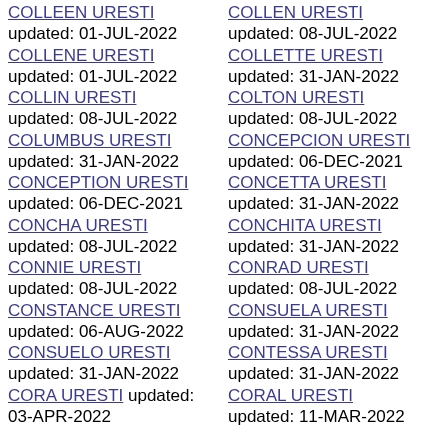COLLEEN URESTI updated: 01-JUL-2022
COLLENE URESTI updated: 01-JUL-2022
COLLIN URESTI updated: 08-JUL-2022
COLUMBUS URESTI updated: 31-JAN-2022
CONCEPTION URESTI updated: 06-DEC-2021
CONCHA URESTI updated: 08-JUL-2022
CONNIE URESTI updated: 08-JUL-2022
CONSTANCE URESTI updated: 06-AUG-2022
CONSUELO URESTI updated: 31-JAN-2022
CORA URESTI updated: 03-APR-2022
COLLEN URESTI updated: 08-JUL-2022
COLLETTE URESTI updated: 31-JAN-2022
COLTON URESTI updated: 08-JUL-2022
CONCEPCION URESTI updated: 06-DEC-2021
CONCETTA URESTI updated: 31-JAN-2022
CONCHITA URESTI updated: 31-JAN-2022
CONRAD URESTI updated: 08-JUL-2022
CONSUELA URESTI updated: 31-JAN-2022
CONTESSA URESTI updated: 31-JAN-2022
CORAL URESTI updated: 11-MAR-2022